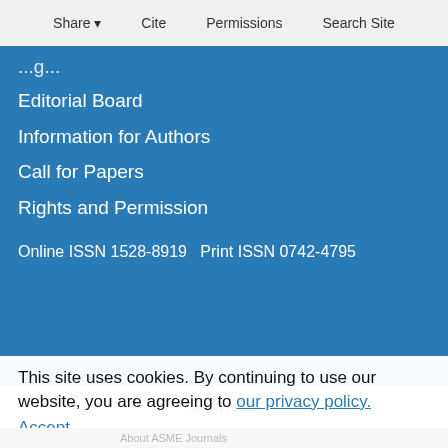Share  Cite  Permissions  Search Site
Editorial Board
Information for Authors
Call for Papers
Rights and Permission
Online ISSN 1528-8919   Print ISSN 0742-4795
Journals
About ASME Journals
This site uses cookies. By continuing to use our website, you are agreeing to our privacy policy. Accept
Information for Authors
Author's Hub
Call for Papers
Title History